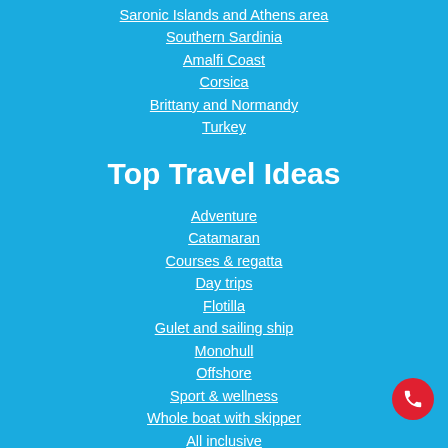Saronic Islands and Athens area
Southern Sardinia
Amalfi Coast
Corsica
Brittany and Normandy
Turkey
Top Travel Ideas
Adventure
Catamaran
Courses & regatta
Day trips
Flotilla
Gulet and sailing ship
Monohull
Offshore
Sport & wellness
Whole boat with skipper
All inclusive
Crewed
WWF Sailing Cruises